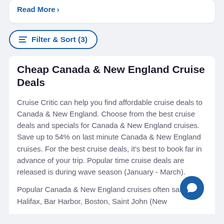Read More >
Filter & Sort (3)
Cheap Canada & New England Cruise Deals
Cruise Critic can help you find affordable cruise deals to Canada & New England. Choose from the best cruise deals and specials for Canada & New England cruises. Save up to 54% on last minute Canada & New England cruises. For the best cruise deals, it's best to book far in advance of your trip. Popular time cruise deals are released is during wave season (January - March).
Popular Canada & New England cruises often sail to Halifax, Bar Harbor, Boston, Saint John (New